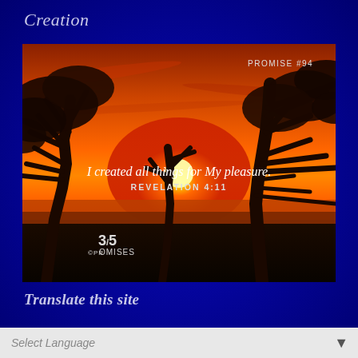Creation
[Figure (photo): Sunset scene with silhouetted tropical trees against a vivid orange sky over the ocean. Text overlay reads 'I created all things for My pleasure.' and 'REVELATION 4:11'. Upper right shows 'PROMISE #94'. Lower left shows '3/5 ©PROMISES' logo.]
Translate this site
Select Language